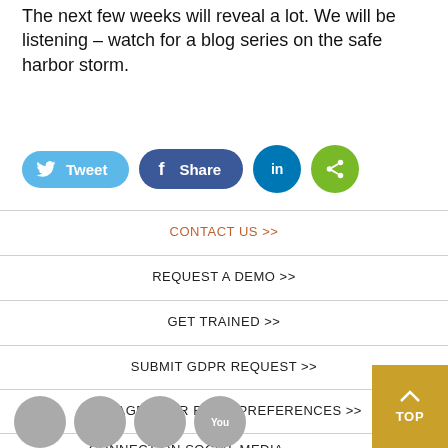The next few weeks will reveal a lot. We will be listening – watch for a blog series on the safe harbor storm.
[Figure (infographic): Social share buttons: Tweet (light blue pill), Share (dark blue pill with Facebook f), LinkedIn circle (dark teal), Green share circle]
CONTACT US >>
REQUEST A DEMO >>
GET TRAINED >>
SUBMIT GDPR REQUEST >>
MANAGE YOUR EMAIL PREFERENCES >>
CONNECT ON SOCIAL MEDIA
[Figure (infographic): Row of gray circular social media icons at bottom (Twitter, Facebook, LinkedIn, YouTube)]